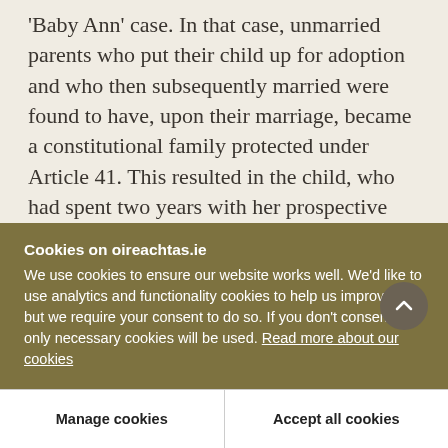'Baby Ann' case. In that case, unmarried parents who put their child up for adoption and who then subsequently married were found to have, upon their marriage, became a constitutional family protected under Article 41. This resulted in the child, who had spent two years with her prospective adoptive parents and formed a bond with them, being removed from their care at an important formative time for that child. In her dissenting judgment, Ms Justice Catherine McGuinness, a children's rights champion we all know, noted that
Cookies on oireachtas.ie
We use cookies to ensure our website works well. We'd like to use analytics and functionality cookies to help us improve it but we require your consent to do so. If you don't consent, only necessary cookies will be used. Read more about our cookies
Manage cookies
Accept all cookies